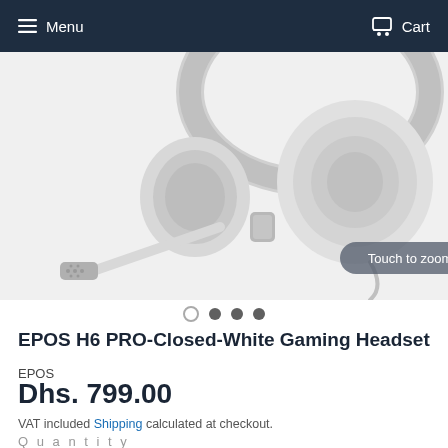Menu   Cart
[Figure (photo): White gaming headset (EPOS H6 PRO) with microphone arm extended, shown from a low-angle close-up view on a light grey background. A 'Touch to zoom' pill button overlay is visible near the bottom of the image. Below the image are four navigation dots (one open circle, three filled).]
EPOS H6 PRO-Closed-White Gaming Headset
EPOS
Dhs. 799.00
VAT included Shipping calculated at checkout.
Quantity